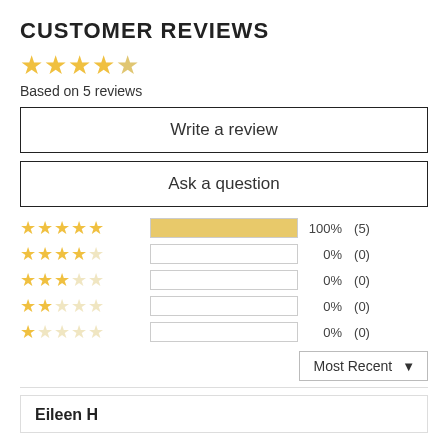CUSTOMER REVIEWS
[Figure (other): 5 gold stars rating display]
Based on 5 reviews
Write a review
Ask a question
[Figure (bar-chart): Rating distribution]
Most Recent
Eileen H